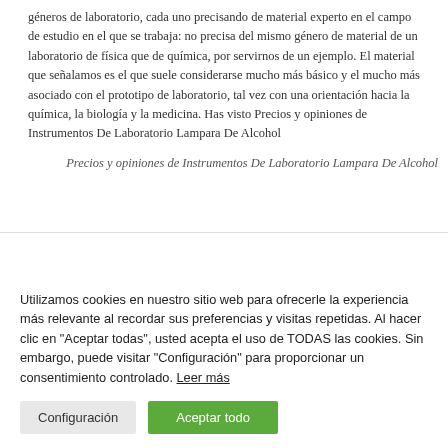géneros de laboratorio, cada uno precisando de material experto en el campo de estudio en el que se trabaja: no precisa del mismo género de material de un laboratorio de física que de química, por servirnos de un ejemplo. El material que señalamos es el que suele considerarse mucho más básico y el mucho más asociado con el prototipo de laboratorio, tal vez con una orientación hacia la química, la biología y la medicina. Has visto Precios y opiniones de Instrumentos De Laboratorio Lampara De Alcohol
Precios y opiniones de Instrumentos De Laboratorio Lampara De Alcohol
Utilizamos cookies en nuestro sitio web para ofrecerle la experiencia más relevante al recordar sus preferencias y visitas repetidas. Al hacer clic en "Aceptar todas", usted acepta el uso de TODAS las cookies. Sin embargo, puede visitar "Configuración" para proporcionar un consentimiento controlado. Leer más
Configuración
Aceptar todo